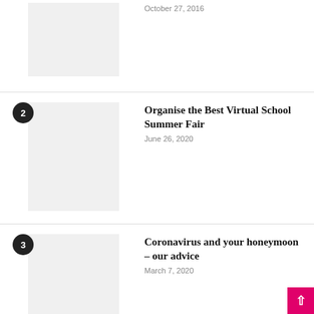October 27, 2016
[Figure (photo): Placeholder image for article 1]
2 Organise the Best Virtual School Summer Fair — June 26, 2020
[Figure (photo): Placeholder image for article 2]
3 Coronavirus and your honeymoon – our advice — March 7, 2020
[Figure (photo): Placeholder image for article 3]
4 Cash not cringe. How to ask for